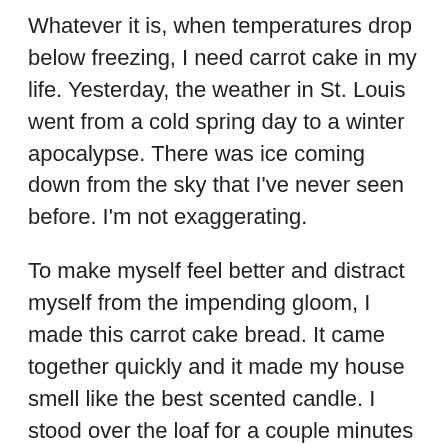Whatever it is, when temperatures drop below freezing, I need carrot cake in my life. Yesterday, the weather in St. Louis went from a cold spring day to a winter apocalypse. There was ice coming down from the sky that I've never seen before. I'm not exaggerating.
To make myself feel better and distract myself from the impending gloom, I made this carrot cake bread. It came together quickly and it made my house smell like the best scented candle. I stood over the loaf for a couple minutes after it came out the oven. It made me feel the same way I would standing under a heat lamp, but better because it smelled good and I could eat it.
I thought about adding some ingredients to the bread such as golden raisins or pineapple. Carrot cake is a good